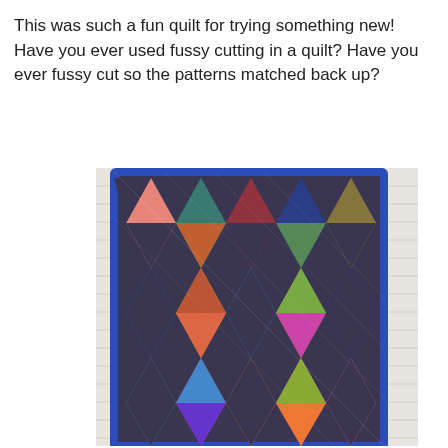This was such a fun quilt for trying something new! Have you ever used fussy cutting in a quilt? Have you ever fussy cut so the patterns matched back up?
[Figure (photo): A colorful patchwork quilt hanging on a white brick wall. The quilt features large diamond and triangle shapes made from vibrant patterned fabrics in colors including pink, teal, blue, red, gold, orange, purple, and green, all set against a dark navy/charcoal background fabric.]